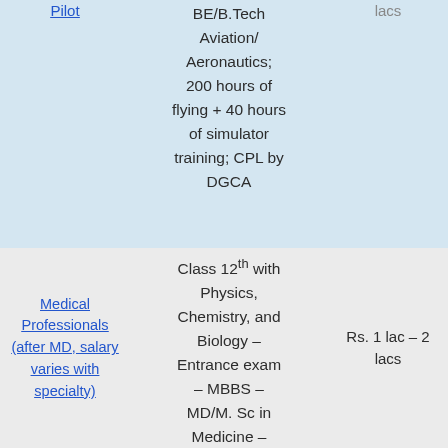| Career | Qualifications/Requirements | Salary (lacs) |
| --- | --- | --- |
| Pilot | BE/B.Tech Aviation/Aeronautics; 200 hours of flying + 40 hours of simulator training; CPL by DGCA | lacs |
| Medical Professionals (after MD, salary varies with specialty) | Class 12th with Physics, Chemistry, and Biology – Entrance exam – MBBS – MD/M. Sc in Medicine – | Rs. 1 lac – 2 lacs |